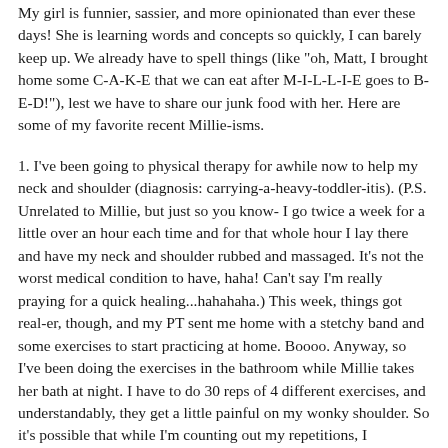My girl is funnier, sassier, and more opinionated than ever these days! She is learning words and concepts so quickly, I can barely keep up. We already have to spell things (like "oh, Matt, I brought home some C-A-K-E that we can eat after M-I-L-L-I-E goes to B-E-D!"), lest we have to share our junk food with her. Here are some of my favorite recent Millie-isms.
1. I've been going to physical therapy for awhile now to help my neck and shoulder (diagnosis: carrying-a-heavy-toddler-itis). (P.S. Unrelated to Millie, but just so you know- I go twice a week for a little over an hour each time and for that whole hour I lay there and have my neck and shoulder rubbed and massaged. It's not the worst medical condition to have, haha! Can't say I'm really praying for a quick healing...hahahaha.) This week, things got real-er, though, and my PT sent me home with a stetchy band and some exercises to start practicing at home. Boooo. Anyway, so I've been doing the exercises in the bathroom while Millie takes her bath at night. I have to do 30 reps of 4 different exercises, and understandably, they get a little painful on my wonky shoulder. So it's possible that while I'm counting out my repetitions, I occasionally say "owwwwwww" and make a grimacing face. And it didn't take Miss Observant long to figure that out, because about five minutes into